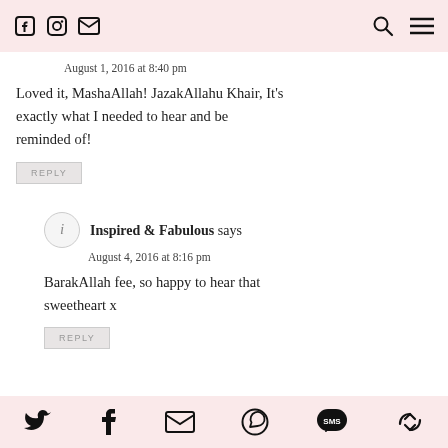Facebook, Instagram, Email icons (left); Search, Menu icons (right)
August 1, 2016 at 8:40 pm
Loved it, MashaAllah! JazakAllahu Khair, It's exactly what I needed to hear and be reminded of!
REPLY
Inspired & Fabulous says
August 4, 2016 at 8:16 pm
BarakAllah fee, so happy to hear that sweetheart x
REPLY
Twitter, Facebook, Email, WhatsApp, SMS, Camera share icons